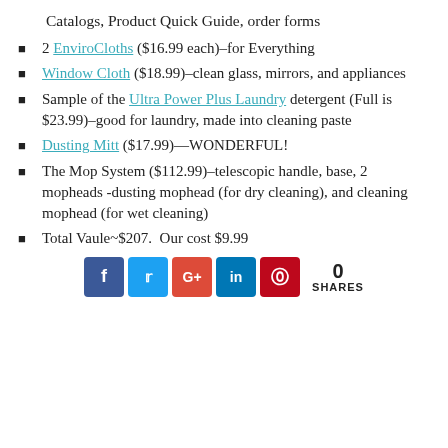Catalogs, Product Quick Guide, order forms
2 EnviroCloths ($16.99 each)–for Everything
Window Cloth ($18.99)–clean glass, mirrors, and appliances
Sample of the Ultra Power Plus Laundry detergent (Full is $23.99)–good for laundry, made into cleaning paste
Dusting Mitt ($17.99)—WONDERFUL!
The Mop System ($112.99)–telescopic handle, base, 2 mopheads -dusting mophead (for dry cleaning), and cleaning mophead (for wet cleaning)
Total Vaule~$207.  Our cost $9.99
[Figure (infographic): Social media share buttons: Facebook (blue), Twitter (light blue), Google+ (red), LinkedIn (dark blue), Pinterest (red). Share count: 0 SHARES.]